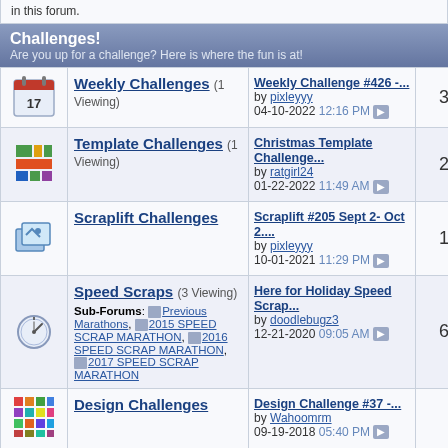in this forum.
Challenges! Are you up for a challenge? Here is where the fun is at!
| Icon | Forum Name | Last Post | Count |
| --- | --- | --- | --- |
| [calendar icon] | Weekly Challenges (1 Viewing) | Weekly Challenge #426 -...\nby pixleyyy\n04-10-2022 12:16 PM | 398 |
| [template icon] | Template Challenges (1 Viewing) | Christmas Template Challenge...\nby ratgirl24\n01-22-2022 11:49 AM | 278 |
| [scraplift icon] | Scraplift Challenges | Scraplift #205 Sept 2- Oct 2....\nby pixleyyy\n10-01-2021 11:29 PM | 173 |
| [speed icon] | Speed Scraps (3 Viewing)\nSub-Forums: Previous Marathons, 2015 SPEED SCRAP MARATHON, 2016 SPEED SCRAP MARATHON, 2017 SPEED SCRAP MARATHON | Here for Holiday Speed Scrap...\nby doodlebugz3\n12-21-2020 09:05 AM | 650 |
| [design icon] | Design Challenges | Design Challenge #37 -...\nby Wahoomrm\n09-19-2018 05:40 PM | 99 |
| [photo icon] | Photo Scavenger Hunt | Photo Scavenger Hunt #35\nby Mlmsizemore | 40 |